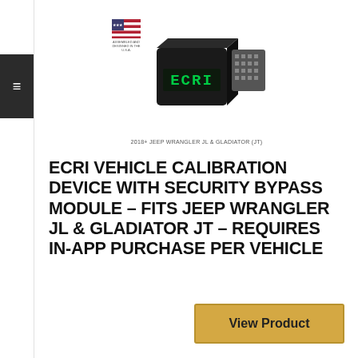[Figure (photo): ECRI vehicle calibration device with security bypass module, a black OBD-style plug with green LED display showing 'ECRI', with a US flag badge reading 'Assembled and Designed in the U.S.A.' and a connector visible to the right side.]
2018+ JEEP WRANGLER JL & GLADIATOR (JT)
ECRI VEHICLE CALIBRATION DEVICE WITH SECURITY BYPASS MODULE – FITS JEEP WRANGLER JL & GLADIATOR JT – REQUIRES IN-APP PURCHASE PER VEHICLE
View Product